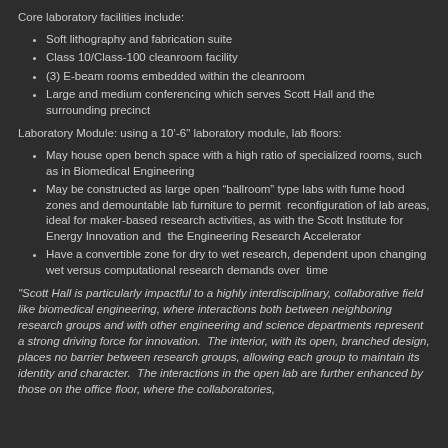Core laboratory facilities include:
Soft lithography and fabrication suite
Class 10/Class-100 cleanroom facility
(3) E-beam rooms embedded within the cleanroom
Large and medium conferencing which serves Scott Hall and the surrounding precinct
Laboratory Module: using a 10’-6" laboratory module, lab floors:
May house open bench space with a high ratio of specialized rooms, such as in Biomedical Engineering
May be constructed as large open “ballroom” type labs with fume hood zones and demountable lab furniture to permit reconfiguration of lab areas, ideal for maker-based research activities, as with the Scott Institute for Energy Innovation and the Engineering Research Accelerator
Have a convertible zone for dry to wet research, dependent upon changing wet versus computational research demands over time
“Scott Hall is particularly impactful to a highly interdisciplinary, collaborative field like biomedical engineering, where interactions both between neighboring research groups and with other engineering and science departments represent a strong driving force for innovation. The interior, with its open, branched design, places no barrier between research groups, allowing each group to maintain its identity and character. The interactions in the open lab are further enhanced by those on the office floor, where the collaboratories,